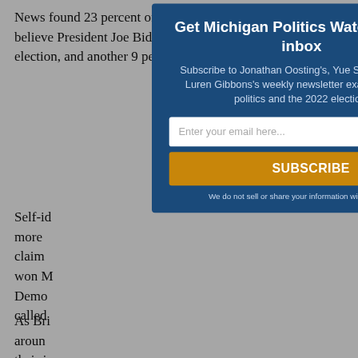News found 23 percent of Michigan voters did not believe President Joe Biden legitimately won last year's election, and another 9 percent said they were not sure.
Self-id... more ... claim ... won M ... Demo ... called ...
As Bri ... aroun ... their j ... presid ... amen ... guara ...
[Figure (other): Email newsletter subscription modal popup for Michigan Politics Watch. Dark blue background with white title text 'Get Michigan Politics Watch in your inbox', subtitle 'Subscribe to Jonathan Oosting's, Yue Stella Yu's, and Luren Gibbons's weekly newsletter examining state politics and the 2022 election.', an email input field, an orange SUBSCRIBE button, and disclaimer text 'We do not sell or share your information with anyone.' A close (X) button appears in the top right corner.]